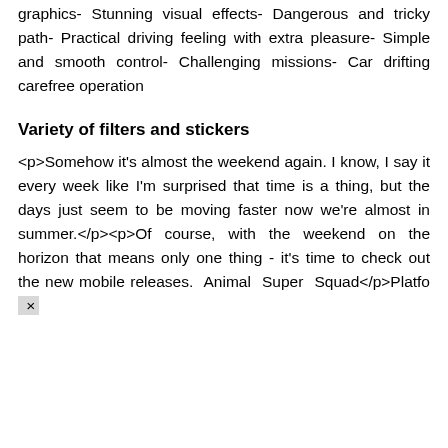graphics- Stunning visual effects- Dangerous and tricky path- Practical driving feeling with extra pleasure- Simple and smooth control- Challenging missions- Car drifting carefree operation
Variety of filters and stickers
<p>Somehow it's almost the weekend again. I know, I say it every week like I'm surprised that time is a thing, but the days just seem to be moving faster now we're almost in summer.</p><p>Of course, with the weekend on the horizon that means only one thing - it's time to check out the new mobile releases. Animal Super Squad</p>Platfo ×